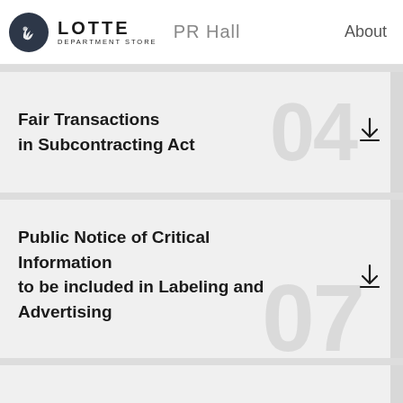LOTTE DEPARTMENT STORE PR Hall — About
Fair Transactions in Subcontracting Act
Public Notice of Critical Information to be included in Labeling and Advertising
Installment Transactions Act